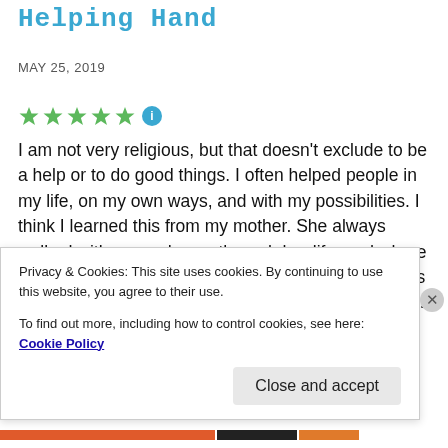Helping Hand
MAY 25, 2019
[Figure (other): Five green star rating icons followed by a blue info circle icon]
I am not very religious, but that doesn't exclude to be a help or to do good things. I often helped people in my life, on my own ways, and with my possibilities. I think I learned this from my mother. She always walked with opened eyes through her life, and where others looked away, she offered help. Sometimes it's about tiny things, other times your help matters a lot. You definitely can't save everyone and the whole world, but you can
Privacy & Cookies: This site uses cookies. By continuing to use this website, you agree to their use.
To find out more, including how to control cookies, see here: Cookie Policy
Close and accept